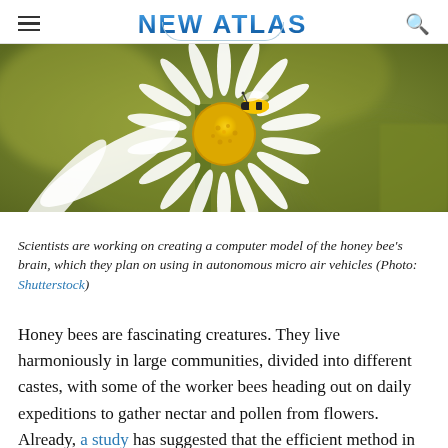NEW ATLAS
[Figure (photo): Close-up photograph of a bee on a white daisy flower with yellow center, set against a blurred olive-green background.]
Scientists are working on creating a computer model of the honey bee's brain, which they plan on using in autonomous micro air vehicles (Photo: Shutterstock)
Honey bees are fascinating creatures. They live harmoniously in large communities, divided into different castes, with some of the worker bees heading out on daily expeditions to gather nectar and pollen from flowers. Already, a study has suggested that the efficient method in which bees